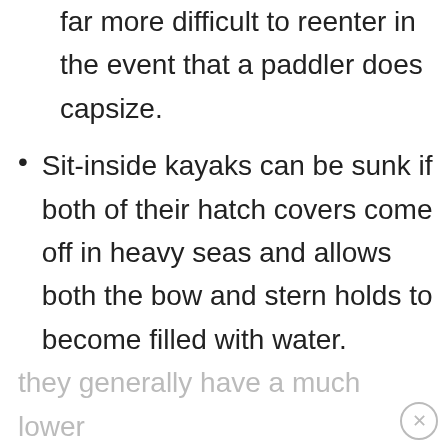far more difficult to reenter in the event that a paddler does capsize.
Sit-inside kayaks can be sunk if both of their hatch covers come off in heavy seas and allows both the bow and stern holds to become filled with water.
Because sit-inside kayaks have a significantly lower center of gravity, they are also generally much more narrow than most sit-on-top kayak designs and thus,
they generally have a much lower